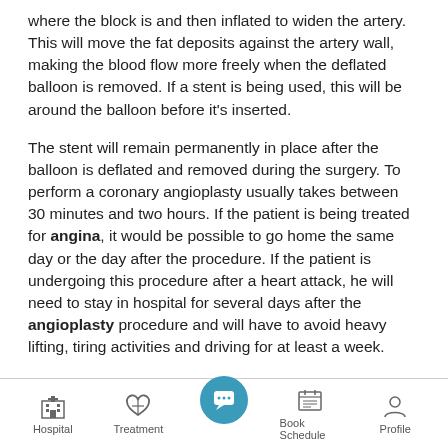where the block is and then inflated to widen the artery. This will move the fat deposits against the artery wall, making the blood flow more freely when the deflated balloon is removed. If a stent is being used, this will be around the balloon before it's inserted.
The stent will remain permanently in place after the balloon is deflated and removed during the surgery. To perform a coronary angioplasty usually takes between 30 minutes and two hours. If the patient is being treated for angina, it would be possible to go home the same day or the day after the procedure. If the patient is undergoing this procedure after a heart attack, he will need to stay in hospital for several days after the angioplasty procedure and will have to avoid heavy lifting, tiring activities and driving for at least a week.
Hospital | Treatment | [chat] | Book Schedule | Profile